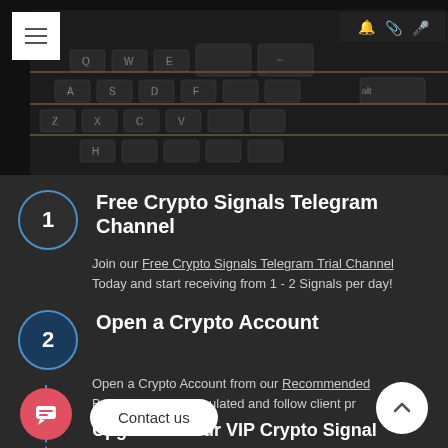[Figure (photo): Close-up photo of a BlackBerry smartphone keyboard with physical QWERTY keys, dark background]
1 Free Crypto Signals Telegram Channel
Join our Free Crypto Signals Telegram Trial Channel Today and start receiving from 1 - 2 Signals per day!
2 Open a Crypto Account
Open a Crypto Account from our Recommended Brokers who are regulated and follow client pr...
Contact us
Upgrade to our VIP Crypto Signal